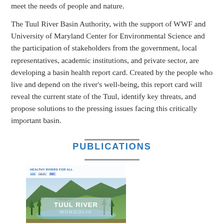meet the needs of people and nature.
The Tuul River Basin Authority, with the support of WWF and University of Maryland Center for Environmental Science and the participation of stakeholders from the government, local representatives, academic institutions, and private sector, are developing a basin health report card. Created by the people who live and depend on the river's well-being, this report card will reveal the current state of the Tuul, identify key threats, and propose solutions to the pressing issues facing this critically important basin.
PUBLICATIONS
[Figure (photo): Book cover of Tuul River Mongolia publication showing a river valley landscape with mountains and trees, with logos at the top including Healthy Rivers for All, WWF, and other organizations.]